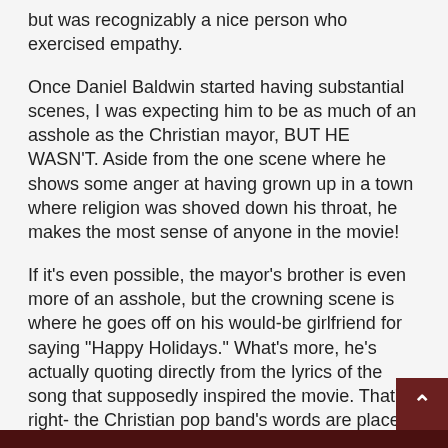but was recognizably a nice person who exercised empathy.
Once Daniel Baldwin started having substantial scenes, I was expecting him to be as much of an asshole as the Christian mayor, BUT HE WASN'T. Aside from the one scene where he shows some anger at having grown up in a town where religion was shoved down his throat, he makes the most sense of anyone in the movie!
If it's even possible, the mayor's brother is even more of an asshole, but the crowning scene is where he goes off on his would-be girlfriend for saying "Happy Holidays." What's more, he's actually quoting directly from the lyrics of the song that supposedly inspired the movie. That's right- the Christian pop band's words are placed in the mouth of the most socially unacceptable person, doing the most socially unacceptable thing of the entire mo
In fact, I'll go so far as to say that this is one of the most important tools on the secular side of the "War